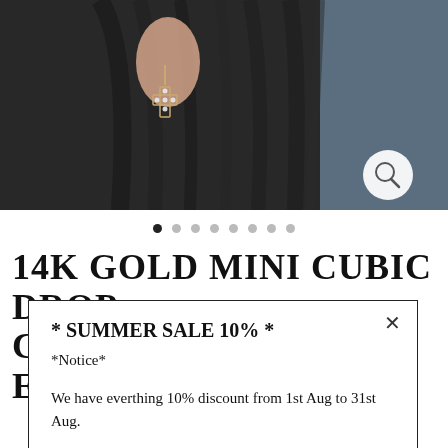[Figure (photo): Close-up photo of a person with dark hair wearing a 14K gold mini cubic drop cross cartilage earring. The earring is a small cross shape with cubic zirconia stones, hanging from the ear. A magnifying glass icon appears in the bottom-right of the photo.]
• (dot indicators for image carousel, 8 dots, first active)
14K GOLD MINI CUBIC DROP CROSS CARTILAGE EARRING
* SUMMER SALE 10% *
*Notice*

We have everthing 10% discount from 1st Aug to 31st Aug.

Don't miss out on Sale